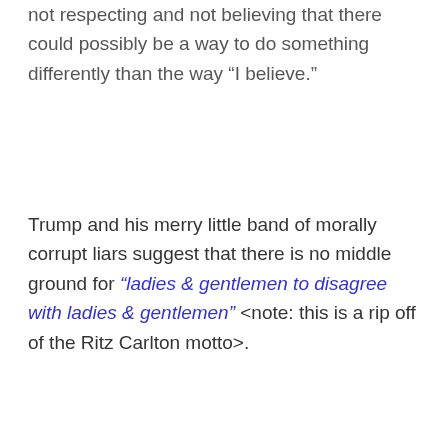not respecting and not believing that there could possibly be a way to do something differently than the way “I believe.”
Trump and his merry little band of morally corrupt liars suggest that there is no middle ground for “ladies & gentlemen to disagree with ladies & gentlemen" <note: this is a rip off of the Ritz Carlton motto>.